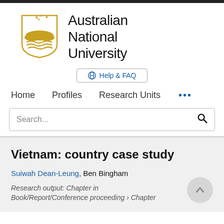[Figure (logo): Australian National University logo with golden shield crest and university name text]
Help & FAQ
Home   Profiles   Research Units   ...
Search...
Vietnam: country case study
Suiwah Dean-Leung, Ben Bingham
Research output: Chapter in Book/Report/Conference proceeding › Chapter